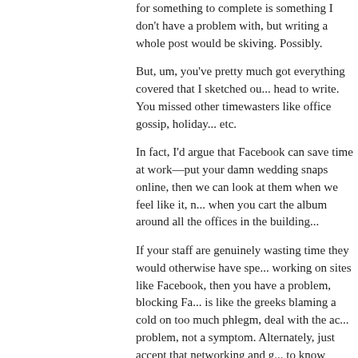for something to complete is something I don't have a problem with, but writing a whole post would be skiving. Possibly.
But, um, you've pretty much got everything covered that I sketched out in my head to write. You missed other timewasters like office gossip, holiday snaps, etc.
In fact, I'd argue that Facebook can save time at work—put your damn wedding snaps online, then we can look at them when we feel like it, rather than when you cart the album around all the offices in the building...
If your staff are genuinely wasting time they would otherwise have spent working on sites like Facebook, then you have a problem, blocking Facebook is like the greeks blaming a cold on too much phlegm, deal with the actual problem, not a symptom. Alternately, just accept that networking and getting to know friends and colleagues is a good thing, helps build morale and makes real difference than, for example, stupid emails forwarding 9/11 hoax stories...
Posted by: MatGB | September 12, 2007 at 05:54 PM
[Figure (illustration): Green starburst/spiral pattern avatar image in a square frame]
Surely the whole point is that facebook time-wasting is cheap and easy for employers to eliminate, whereas other time-wasting isn't, so it makes far more sense for an employer to block facebook than it does for him to try to eliminate, say, office gossip. Am i missing something?